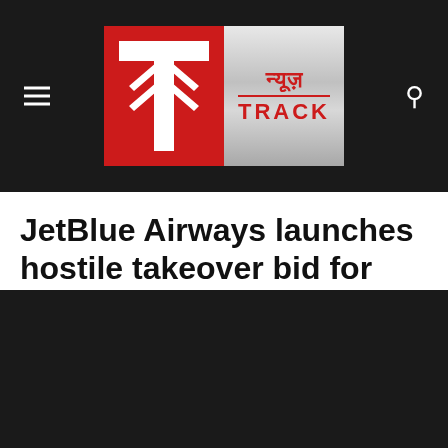न्यूज़ TRACK — News Track logo header
JetBlue Airways launches hostile takeover bid for Spirit Airlines
By P C Thomas   May 16 2022 05:48 PM   Business